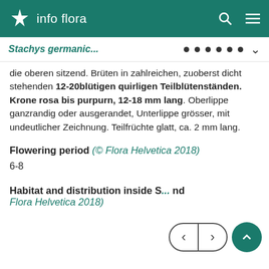info flora
Stachys germanic...
die oberen sitzend. Brüten in zahlreichen, zuoberst dicht stehenden 12-20blütigen quirligen Teilblütenständen. Krone rosa bis purpurn, 12-18 mm lang. Oberlippe ganzrandig oder ausgerandet, Unterlippe grösser, mit undeutlicher Zeichnung. Teilfrüchte glatt, ca. 2 mm lang.
Flowering period (© Flora Helvetica 2018)
6-8
Habitat and distribution inside S... and Flora Helvetica 2018)